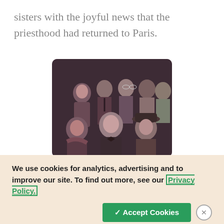sisters with the joyful news that the priesthood had returned to Paris.
[Figure (photo): Group photograph showing Eveline Kleinert (first row on left) and the Paris Branch sisters after liberation. The black and white sepia-toned photo shows approximately 9-10 people including men and women, some in military uniform.]
Eveline Kleinert (first row on left) and the Paris Branch sisters after liberation
We use cookies for analytics, advertising and to improve our site. To find out more, see our Privacy Policy.